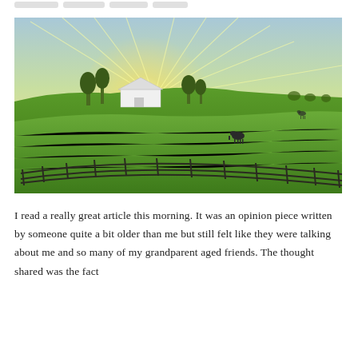[navigation tags]
[Figure (photo): Landscape photograph of a farm at sunrise or sunset. A white barn sits on a gentle hill surrounded by green pastures. Sunlight radiates outward from behind the barn creating star-burst rays. A wooden post-and-rail fence curves across the foreground. One or two horses are visible grazing in the field. Trees frame the left side and background.]
I read a really great article this morning. It was an opinion piece written by someone quite a bit older than me but still felt like they were talking about me and so many of my grandparent aged friends. The thought shared was the fact